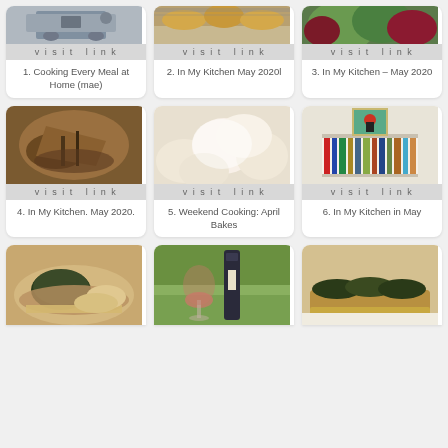[Figure (photo): Row 1, Card 1: partial top of image showing person by car]
visit link
1. Cooking Every Meal at Home (mae)
[Figure (photo): Row 1, Card 2: partial top of image showing baked pastries on rack]
visit link
2. In My Kitchen May 2020l
[Figure (photo): Row 1, Card 3: partial top of image showing green vegetables]
visit link
3. In My Kitchen – May 2020
[Figure (photo): Row 2, Card 4: image of cooked fish/crab]
visit link
4. In My Kitchen. May 2020.
[Figure (photo): Row 2, Card 5: image of powdered sugar pastries/bakes]
visit link
5. Weekend Cooking: April Bakes
[Figure (photo): Row 2, Card 6: image of bookshelf with cookbooks and bird art]
visit link
6. In My Kitchen in May
[Figure (photo): Row 3, Card 7: partial image of pasta dish with herb-crusted meat]
[Figure (photo): Row 3, Card 8: partial image of wine bottle and glass outdoors]
[Figure (photo): Row 3, Card 9: partial image of stuffed bread/baguettes]